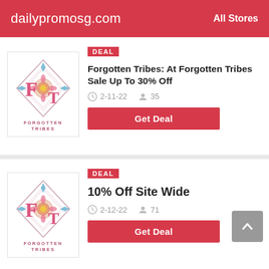dailypromosg.com   All Stores
[Figure (logo): Forgotten Tribes logo - diamond shape with floral pattern, F and T letters]
DEAL
Forgotten Tribes: At Forgotten Tribes Sale Up To 30% Off
2-11-22   35
Get Deal
[Figure (logo): Forgotten Tribes logo - diamond shape with floral pattern, F and T letters]
DEAL
10% Off Site Wide
2-12-22   71
Get Deal